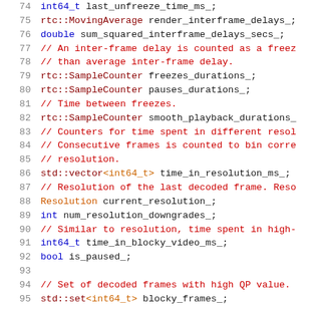[Figure (screenshot): C++ source code snippet showing class member variable declarations with line numbers 74-95, featuring syntax-highlighted code with keywords, types, comments in a monospace font on white background.]